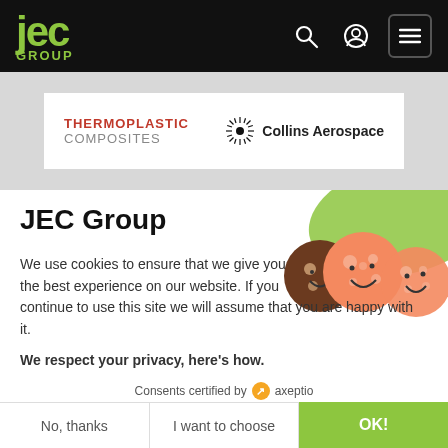[Figure (logo): JEC Group logo in lime green on black background]
[Figure (screenshot): Navigation icons: search magnifier, user/account circle, hamburger menu button]
[Figure (logo): Sponsor card: THERMOPLASTIC COMPOSITES text with Collins Aerospace logo (sunburst + text)]
JEC Group
We use cookies to ensure that we give you the best experience on our website. If you continue to use this site we will assume that you are happy with it.
We respect your privacy, here's how.
Consents certified by axeptio
[Figure (illustration): Cartoon cookie characters illustration with green brush stroke background]
No, thanks
I want to choose
OK!